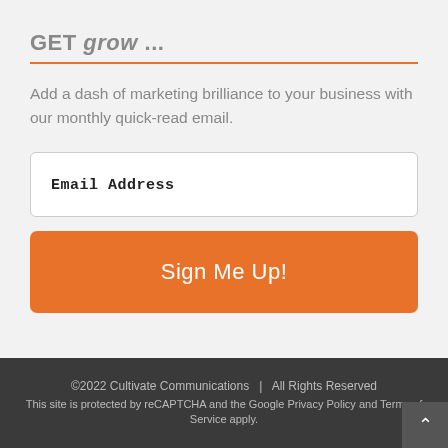GET grow ...
Add a dash of marketing brilliance to your business with our monthly quick-read email.
[Figure (other): Email Address input field - a white rectangle with border containing placeholder text 'Email Address']
[Figure (other): Sign Me Up! button - large orange rounded rectangle button with white text]
©2022 Cultivate Communications   |   All Rights Reserved
This site is protected by reCAPTCHA and the Google Privacy Policy and Terms of Service apply.